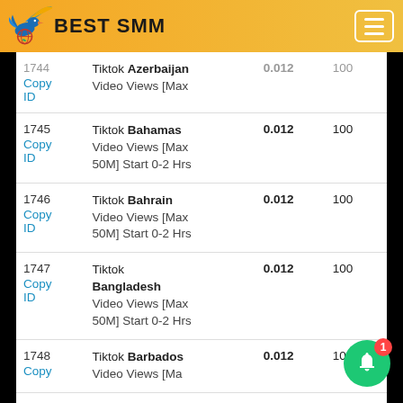BEST SMM
| ID | Service | Price | Min |
| --- | --- | --- | --- |
| 1744
Copy ID | Tiktok Azerbaijan Video Views [Max 50M] Start 0-2 Hrs | 0.012 | 100 |
| 1745
Copy ID | Tiktok Bahamas Video Views [Max 50M] Start 0-2 Hrs | 0.012 | 100 |
| 1746
Copy ID | Tiktok Bahrain Video Views [Max 50M] Start 0-2 Hrs | 0.012 | 100 |
| 1747
Copy ID | Tiktok Bangladesh Video Views [Max 50M] Start 0-2 Hrs | 0.012 | 100 |
| 1748
Copy ID | Tiktok Barbados Video Views [Max 50M] Start 0-2 Hrs | 0.012 | 100 |